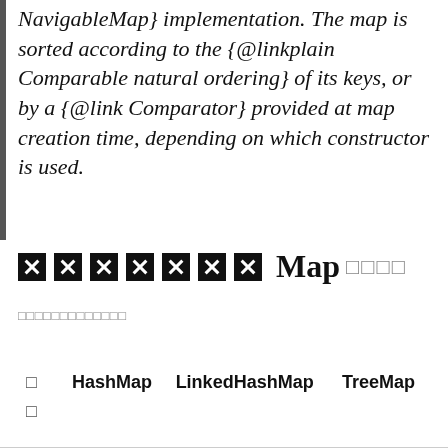NavigableMap} implementation. The map is sorted according to the {@linkplain Comparable natural ordering} of its keys, or by a {@link Comparator} provided at map creation time, depending on which constructor is used.
××××××× Map □□□□
□□□□□□□□□□□□□
|  | HashMap | LinkedHashMap | TreeMap |
| --- | --- | --- | --- |
| □ |  |  |  |
| □ |  |  |  |